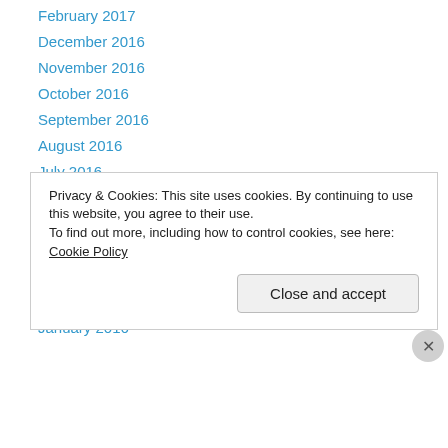February 2017
December 2016
November 2016
October 2016
September 2016
August 2016
July 2016
June 2016
May 2016
April 2016
March 2016
February 2016
January 2016
Privacy & Cookies: This site uses cookies. By continuing to use this website, you agree to their use.
To find out more, including how to control cookies, see here: Cookie Policy
Close and accept